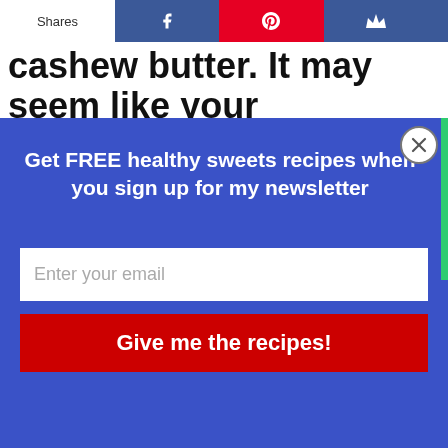Shares
cashew butter. It may seem like your
Get FREE healthy sweets recipes when you sign up for my newsletter
Enter your email
Give me the recipes!